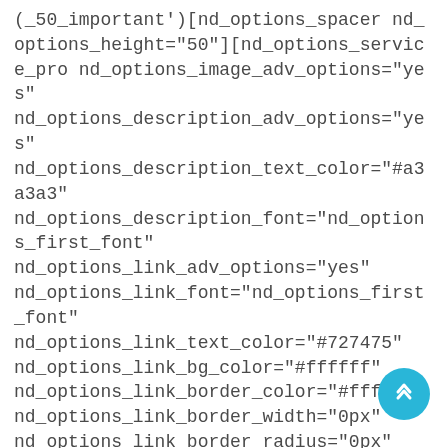(_50_important')[nd_options_spacer nd_options_height="50"][nd_options_service_pro nd_options_image_adv_options="yes" nd_options_description_adv_options="yes" nd_options_description_text_color="#a3a3a3" nd_options_description_font="nd_options_first_font" nd_options_link_adv_options="yes" nd_options_link_font="nd_options_first_font" nd_options_link_text_color="#727475" nd_options_link_bg_color="#ffffff" nd_options_link_border_color="#ffffff" nd_options_link_border_width="0px" nd_options_link_border_radius="0px" nd_options_image="208" nd_options_description="Budowa studni dla całych wiosk w Rogu Afryki." nd_options_image_width= nd_options_description_size="15"